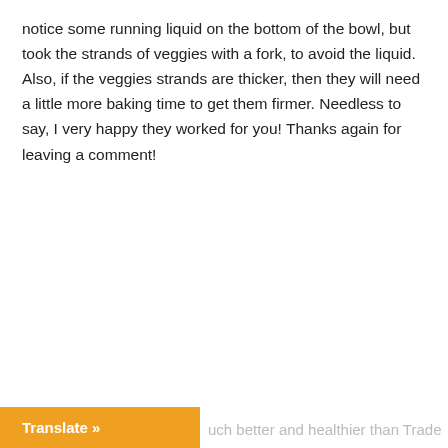notice some running liquid on the bottom of the bowl, but took the strands of veggies with a fork, to avoid the liquid. Also, if the veggies strands are thicker, then they will need a little more baking time to get them firmer. Needless to say, I very happy they worked for you! Thanks again for leaving a comment!
Reply
Cheri Savory Spoon says:
March 13, 2017 at 12:45 pm
Translate »
uch better and healthier than Trader